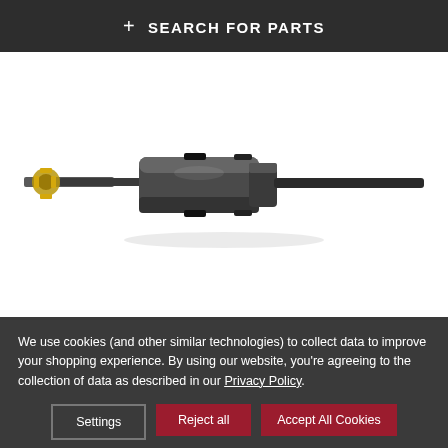+ SEARCH FOR PARTS
[Figure (photo): Close-up photo of a mechanical drive shaft / CV joint assembly with a small gear on the left end, dark cylindrical shaft, and a chunky central hub with black O-ring seals, extending as a rod to the right.]
We use cookies (and other similar technologies) to collect data to improve your shopping experience. By using our website, you're agreeing to the collection of data as described in our Privacy Policy.
Settings
Reject all
Accept All Cookies